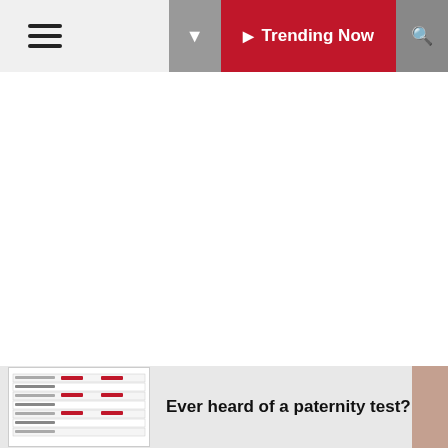≡  ▶ Trending Now  🔍
[Figure (other): Large white blank content area below navigation bar]
Laura Moss Photography Corp
[Figure (other): Bottom advertisement bar with table-like image on left and text 'Ever heard of a paternity test?' and thumbnail on right]